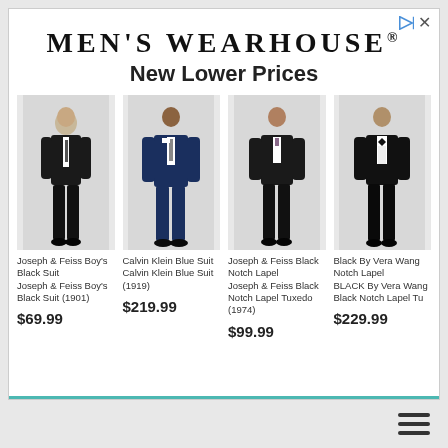MEN'S WEARHOUSE®
New Lower Prices
[Figure (photo): Man wearing Joseph & Feiss Boy's Black Suit, full body shot on grey background]
Joseph & Feiss Boy's Black Suit
Joseph & Feiss Boy's Black Suit (1901)
$69.99
[Figure (photo): Man wearing Calvin Klein Blue Suit, full body shot on grey background]
Calvin Klein Blue Suit
Calvin Klein Blue Suit (1919)
$219.99
[Figure (photo): Man wearing Joseph & Feiss Black Notch Lapel tuxedo, full body shot on grey background]
Joseph & Feiss Black Notch Lapel
Joseph & Feiss Black Notch Lapel Tuxedo (1974)
$99.99
[Figure (photo): Man wearing BLACK By Vera Wang Black Notch Lapel tuxedo, full body shot on grey background]
Black By Vera Wang Notch Lapel
BLACK By Vera Wang Black Notch Lapel Tu
$229.99